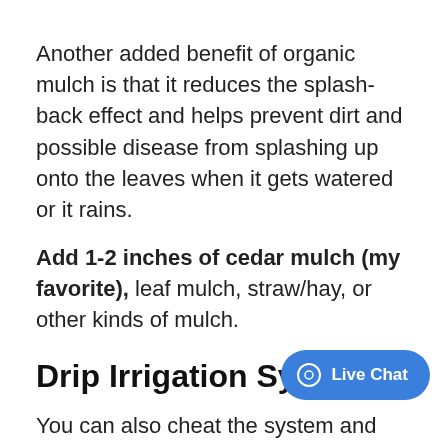Another added benefit of organic mulch is that it reduces the splash-back effect and helps prevent dirt and possible disease from splashing up onto the leaves when it gets watered or it rains.
Add 1-2 inches of cedar mulch (my favorite), leaf mulch, straw/hay, or other kinds of mulch.
Drip Irrigation System
You can also cheat the system and use a drip irrigation system, which essentially